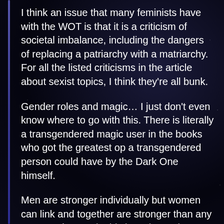I think an issue that many feminists have with the WOT is that it is a criticism of societal imbalance, including the dangers of replacing a patriarchy with a matriarchy. For all the listed criticisms in the article about sexist topics, I think they're all bunk.
Gender roles and magic… I just don't even know where to go with this. There is literally a transgendered magic user in the books who got the greatest op a transgendered person could have by the Dark One himself.
Men are stronger individually but women can link and together are stronger than any man can be. Again this is an issue that many extreme...